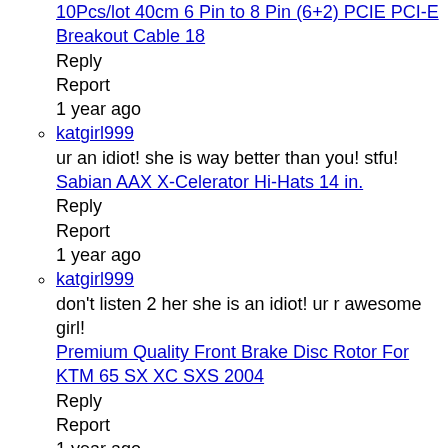10Pcs/lot 40cm 6 Pin to 8 Pin (6+2) PCIE PCI-E Breakout Cable 18
Reply
Report
1 year ago
katgirl999
ur an idiot! she is way better than you! stfu!
Sabian AAX X-Celerator Hi-Hats 14 in.
Reply
Report
1 year ago
katgirl999
don't listen 2 her she is an idiot! ur r awesome girl!
Premium Quality Front Brake Disc Rotor For KTM 65 SX XC SXS 2004
Reply
Report
1 year ago
Iron Land Scape Netsuke Japan Edo original netsuke inro ojime an
Tharindu Himash
Gm
USB 3 Axis 3040T CNC Router Engraver Milling Drilling Cutting En
Reply